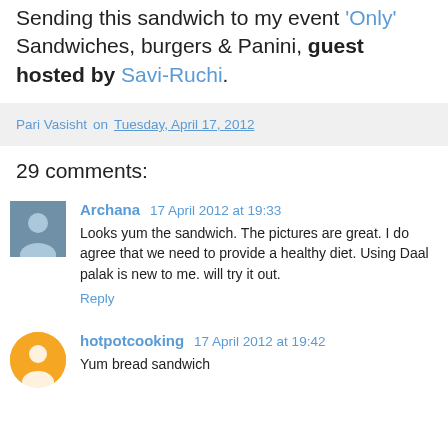Sending this sandwich to my event ‘Only’ Sandwiches, burgers & Panini, guest hosted by Savi-Ruchi.
Pari Vasisht on Tuesday, April 17, 2012
29 comments:
Archana  17 April 2012 at 19:33
Looks yum the sandwich. The pictures are great. I do agree that we need to provide a healthy diet. Using Daal palak is new to me. will try it out.
Reply
hotpotcooking  17 April 2012 at 19:42
Yum bread sandwich